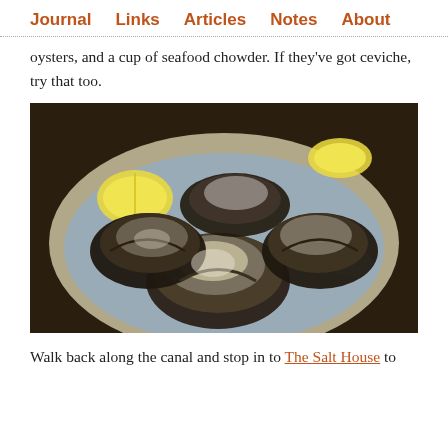Journal   Links   Articles   Notes   About
oysters, and a cup of seafood chowder. If they've got ceviche, try that too.
[Figure (photo): A plate of fresh shucked oysters on ice with lemon wedges, viewed from above at close range.]
Walk back along the canal and stop in to The Salt House to